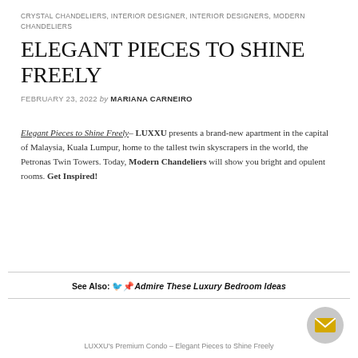CRYSTAL CHANDELIERS, INTERIOR DESIGNER, INTERIOR DESIGNERS, MODERN CHANDELIERS
ELEGANT PIECES TO SHINE FREELY
FEBRUARY 23, 2022 by MARIANA CARNEIRO
Elegant Pieces to Shine Freely– LUXXU presents a brand-new apartment in the capital of Malaysia, Kuala Lumpur, home to the tallest twin skyscrapers in the world, the Petronas Twin Towers. Today, Modern Chandeliers will show you bright and opulent rooms. Get Inspired!
See Also: Admire These Luxury Bedroom Ideas
LUXXU's Premium Condo – Elegant Pieces to Shine Freely